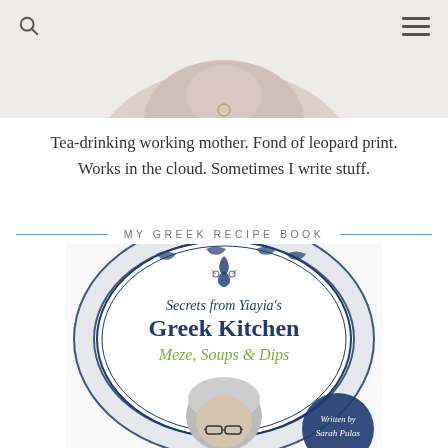[Figure (photo): Partial photo of a woman at top of page, cropped showing only lower portion]
Tea-drinking working mother. Fond of leopard print. Works in the cloud. Sometimes I write stuff.
MY GREEK RECIPE BOOK
[Figure (photo): Book cover: 'Secrets from Yiayia's Greek Kitchen - Meze, Soups & Dips' by Sarah Pulas, showing a decorative blue and white plate and an elderly woman with glasses]